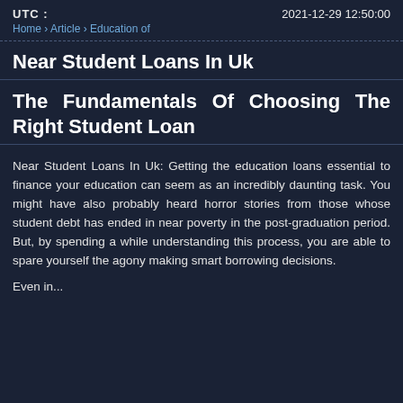UTC : 2021-12-29 12:50:00
Home › Article › Education of
Near Student Loans In Uk
The Fundamentals Of Choosing The Right Student Loan
Near Student Loans In Uk: Getting the education loans essential to finance your education can seem as an incredibly daunting task. You might have also probably heard horror stories from those whose student debt has ended in near poverty in the post-graduation period. But, by spending a while understanding this process, you are able to spare yourself the agony making smart borrowing decisions.
Even in...